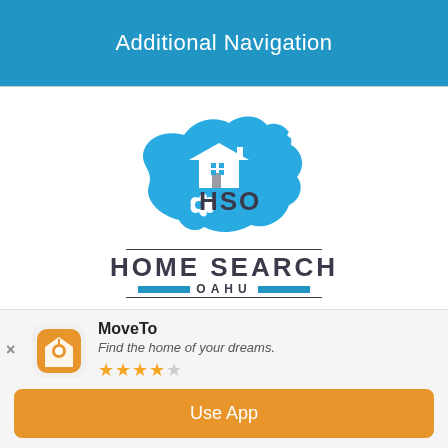Additional Navigation
[Figure (logo): Home Search Oahu logo: blue silhouette of Oahu island with a house/roof icon and 'HSO' text, with 'HOME SEARCH OAHU' branding below]
Jonathan TL Pang (R)
Realtor-Broker | RB-22025
MoveTo
Find the home of your dreams.
★★★★☆
Use App